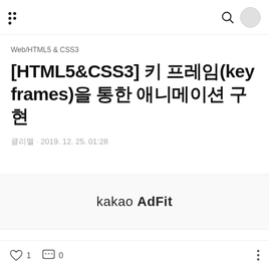navigation header with dots logo, search icon, profile circle
Web/HTML5 & CSS3
[HTML5&CSS3] 키 프레임(keyframes)을 통한 애니메이션 구현
클리멜 · 2019. 12. 25. 01:28
[Figure (other): kakao AdFit advertisement banner]
♡ 1   💬 0   ⋮